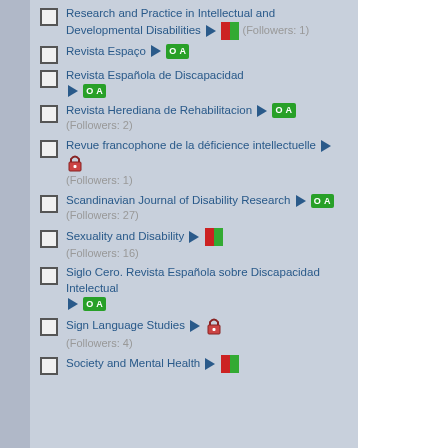Research and Practice in Intellectual and Developmental Disabilities ► [split icon] (Followers: 1)
Revista Espaço ► [OA]
Revista Española de Discapacidad ► [OA]
Revista Herediana de Rehabilitacion ► [OA] (Followers: 2)
Revue francophone de la déficience intellectuelle ► [lock] (Followers: 1)
Scandinavian Journal of Disability Research ► [OA] (Followers: 27)
Sexuality and Disability ► [split icon] (Followers: 16)
Siglo Cero. Revista Española sobre Discapacidad Intelectual ► [OA]
Sign Language Studies ► [lock] (Followers: 4)
Society and Mental Health ► [split icon]